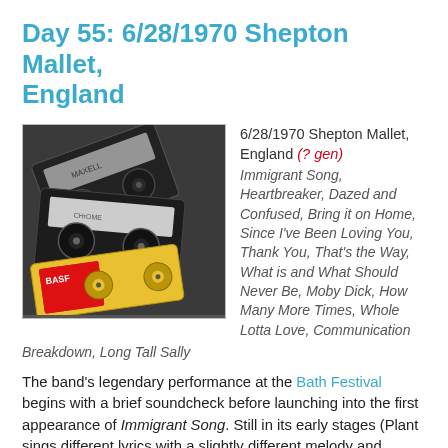Day 55: 6/28/1970 Shepton Mallet, England
[Figure (photo): Photograph of multiple cassette tapes stacked together, including a yellow BASF tape in the foreground]
6/28/1970 Shepton Mallet, England (? gen) Immigrant Song, Heartbreaker, Dazed and Confused, Bring it on Home, Since I've Been Loving You, Thank You, That's the Way, What is and What Should Never Be, Moby Dick, How Many More Times, Whole Lotta Love, Communication Breakdown, Long Tall Sally
The band's legendary performance at the Bath Festival begins with a brief soundcheck before launching into the first appearance of Immigrant Song. Still in its early stages (Plant sings different lyrics with a slightly different melody and structure), the overall pounding intensity remains intact.